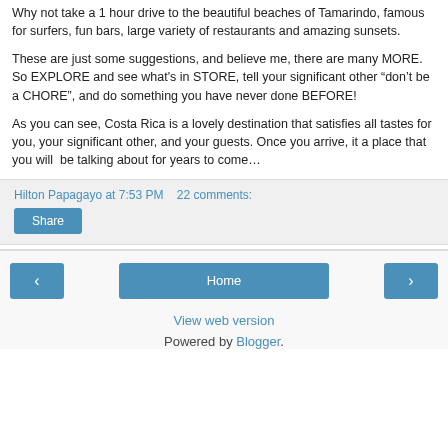Why not take a 1 hour drive to the beautiful beaches of Tamarindo, famous for surfers, fun bars, large variety of restaurants and amazing sunsets.
These are just some suggestions, and believe me, there are many MORE.  So EXPLORE and see what's in STORE, tell your significant other “don’t be a CHORE”, and do something you have never done BEFORE!
As you can see, Costa Rica is a lovely destination that satisfies all tastes for you, your significant other, and your guests. Once you arrive, it a place that you will  be talking about for years to come…
Hilton Papagayo at 7:53 PM    22 comments:
Share
< Home >
View web version
Powered by Blogger.